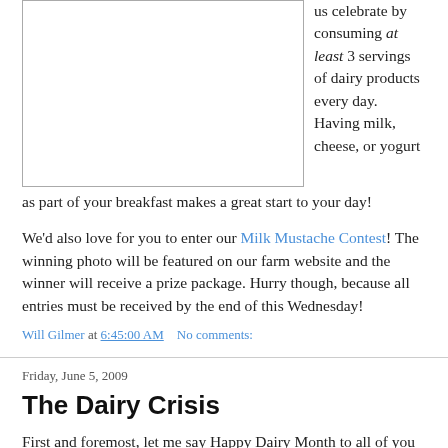[Figure (other): Image placeholder box (blank/white rectangle with border)]
us celebrate by consuming at least 3 servings of dairy products every day. Having milk, cheese, or yogurt as part of your breakfast makes a great start to your day!
We'd also love for you to enter our Milk Mustache Contest! The winning photo will be featured on our farm website and the winner will receive a prize package. Hurry though, because all entries must be received by the end of this Wednesday!
Will Gilmer at 6:45:00 AM   No comments:
Friday, June 5, 2009
The Dairy Crisis
First and foremost, let me say Happy Dairy Month to all of you reading this! America's dairy farming families have